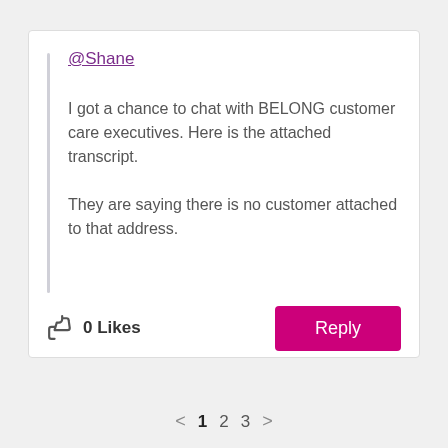@Shane
I got a chance to chat with BELONG customer care executives. Here is the attached transcript.

They are saying there is no customer attached to that address.
0 Likes
Reply
< 1 2 3 >